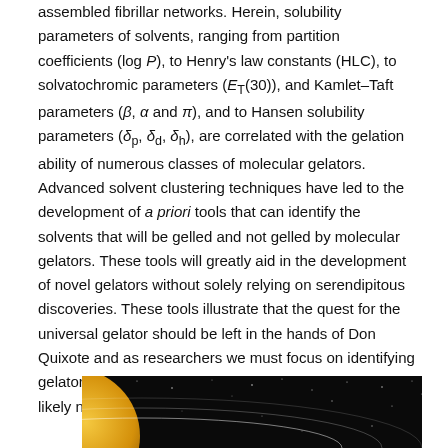assembled fibrillar networks. Herein, solubility parameters of solvents, ranging from partition coefficients (log P), to Henry's law constants (HLC), to solvatochromic parameters (E_T(30)), and Kamlet–Taft parameters (β, α and π), and to Hansen solubility parameters (δ_p, δ_d, δ_h), are correlated with the gelation ability of numerous classes of molecular gelators. Advanced solvent clustering techniques have led to the development of a priori tools that can identify the solvents that will be gelled and not gelled by molecular gelators. These tools will greatly aid in the development of novel gelators without solely relying on serendipitous discoveries. These tools illustrate that the quest for the universal gelator should be left in the hands of Don Quixote and as researchers we must focus on identifying gelators capable of gelling classes of solvents as there is likely no one gelator capable of gelling all solvents.
[Figure (photo): A dark space image showing a large golden/orange planet or star on the left side with orbital rings or arcs sweeping across a starry black background.]